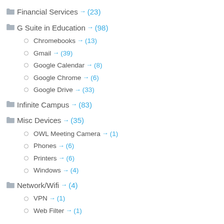Financial Services → (23)
G Suite in Education → (98)
Chromebooks → (13)
Gmail → (39)
Google Calendar → (8)
Google Chrome → (6)
Google Drive → (33)
Infinite Campus → (83)
Misc Devices → (35)
OWL Meeting Camera → (1)
Phones → (6)
Printers → (6)
Windows → (4)
Network/Wifi → (4)
VPN → (1)
Web Filter → (1)